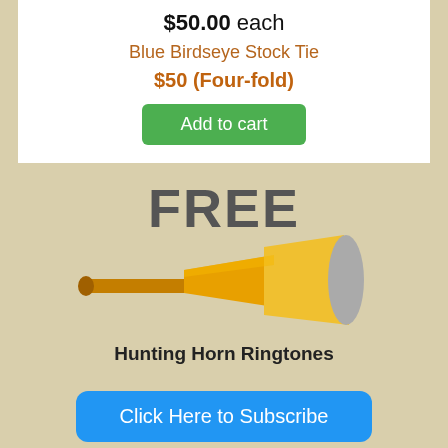$50.00 each
Blue Birdseye Stock Tie
$50 (Four-fold)
Add to cart
[Figure (illustration): Hunting horn illustration with FREE text overlay and text 'Hunting Horn Ringtones']
Click Here to Subscribe
Click on any ad to learn more!
[Figure (photo): Partially visible photo at bottom of page]